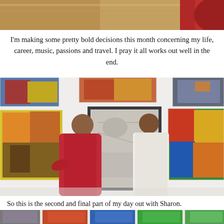[Figure (photo): Top portion of a photo showing a wooden surface and red fabric/flower in the top right corner]
I'm making some pretty bold decisions this month concerning my life, career, music, passions and travel. I pray it all works out well in the end.
[Figure (photo): Two women laughing in an art gallery. A woman in a red long dress stands on the left, and a woman in a white strapless dress stands on the right. The walls are covered with colorful paintings and a framed pencil drawing.]
So this is the second and final part of my day out with Sharon.
[Figure (photo): Bottom portion of another photo showing colorful artwork/paintings on a wall including portraits and landscapes]